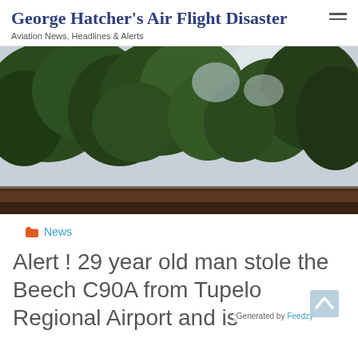George Hatcher's Air Flight Disaster
Aviation News, Headlines & Alerts
[Figure (photo): Outdoor photo looking upward through tree branches with green foliage against a pale sky, with a dark rooftop visible at the bottom]
News
Alert ! 29 year old man stole the Beech C90A from Tupelo Regional Airport and is